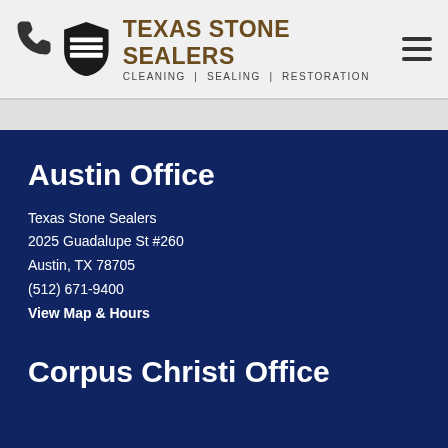Texas Stone Sealers — CLEANING | SEALING | RESTORATION
Austin Office
Texas Stone Sealers
2025 Guadalupe St #260
Austin, TX 78705
(512) 671-9400
View Map & Hours
Corpus Christi Office